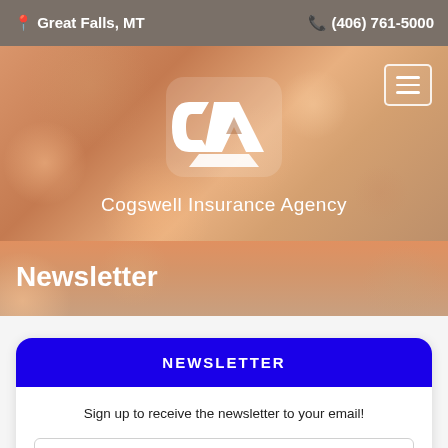Great Falls, MT   (406) 761-5000
[Figure (logo): Cogswell Insurance Agency logo — stylized CIA letters in white on transparent background]
Cogswell Insurance Agency
Newsletter
NEWSLETTER
Sign up to receive the newsletter to your email!
First name
Last name